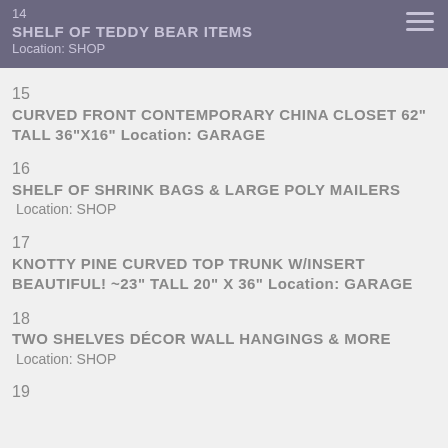14
SHELF OF TEDDY BEAR ITEMS
Location: SHOP
15
CURVED FRONT CONTEMPORARY CHINA CLOSET 62" TALL 36"X16" Location: GARAGE
16
SHELF OF SHRINK BAGS & LARGE POLY MAILERS Location: SHOP
17
KNOTTY PINE CURVED TOP TRUNK W/INSERT BEAUTIFUL! ~23" TALL 20" X 36" Location: GARAGE
18
TWO SHELVES DÉCOR WALL HANGINGS & MORE Location: SHOP
19